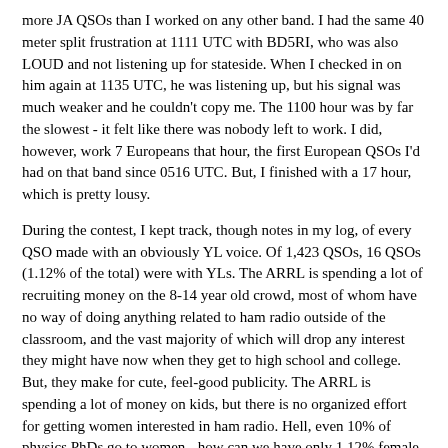more JA QSOs than I worked on any other band. I had the same 40 meter split frustration at 1111 UTC with BD5RI, who was also LOUD and not listening up for stateside. When I checked in on him again at 1135 UTC, he was listening up, but his signal was much weaker and he couldn't copy me. The 1100 hour was by far the slowest - it felt like there was nobody left to work. I did, however, work 7 Europeans that hour, the first European QSOs I'd had on that band since 0516 UTC. But, I finished with a 17 hour, which is pretty lousy.
During the contest, I kept track, though notes in my log, of every QSO made with an obviously YL voice. Of 1,423 QSOs, 16 QSOs (1.12% of the total) were with YLs. The ARRL is spending a lot of recruiting money on the 8-14 year old crowd, most of whom have no way of doing anything related to ham radio outside of the classroom, and the vast majority of which will drop any interest they might have now when they get to high school and college. But, they make for cute, feel-good publicity. The ARRL is spending a lot of money on kids, but there is no organized effort for getting women interested in ham radio. Hell, even 10% of physics PhDs go to women - how can we have only 1.12% female participation in ham radio?
I have a lot to learn about being a single-operator in HF contesting. For one thing, I have to stop being a lid when it comes to station